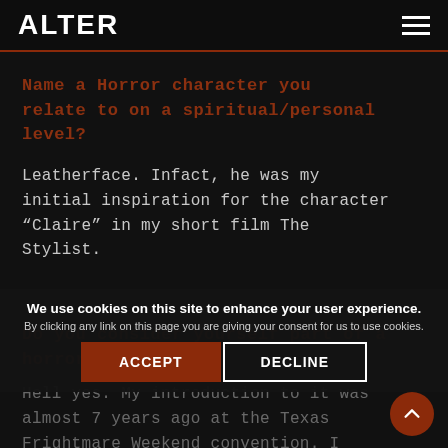ALTER
Name a Horror character you relate to on a spiritual/personal level?
Leatherface. Infact, he was my initial inspiration for the character “Claire” in my short film The Stylist.
Do you consider yourself part of a horror community?
Hell yes. My introduction to it was almost 7 years ago at the Texas Frightmare Weekend convention. I was hooked and inspired. I wanted
We use cookies on this site to enhance your user experience.
By clicking any link on this page you are giving your consent for us to use cookies.